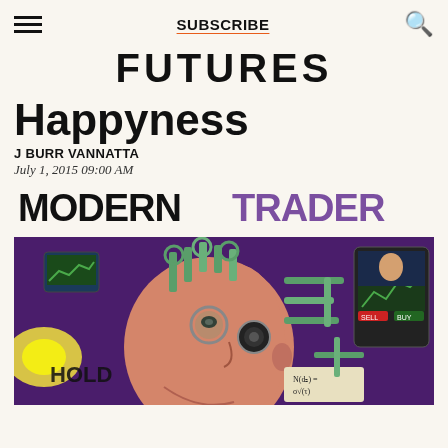SUBSCRIBE
FUTURES
Happyness
J BURR VANNATTA
July 1, 2015 09:00 AM
[Figure (logo): MODERN TRADER logo in black and purple text]
[Figure (illustration): Colorful illustration of a person's head with mechanical and technological elements, trading screens, financial imagery, and the text HOLD, MODERN TRADER logo area]